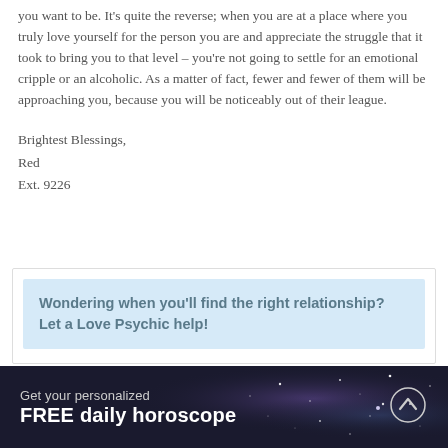you want to be. It's quite the reverse; when you are at a place where you truly love yourself for the person you are and appreciate the struggle that it took to bring you to that level – you're not going to settle for an emotional cripple or an alcoholic. As a matter of fact, fewer and fewer of them will be approaching you, because you will be noticeably out of their league.
Brightest Blessings,
Red
Ext. 9226
Wondering when you'll find the right relationship? Let a Love Psychic help!
Get your personalized
FREE daily horoscope